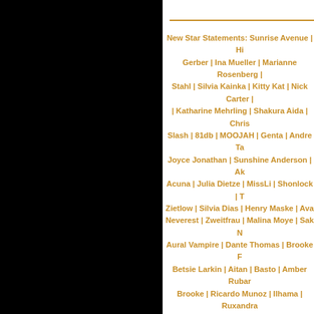New Star Statements: Sunrise Avenue | Hi Gerber | Ina Mueller | Marianne Rosenberg | Stahl | Silvia Kainka | Kitty Kat | Nick Carter | | Katharine Mehrling | Shakura Aida | Chris Slash | 81db | MOOJAH | Genta | Andre Ta Joyce Jonathan | Sunshine Anderson | Ak Acuna | Julia Dietze | MissLi | Shonlock | T Zietlow | Silvia Dias | Henry Maske | Ava Neverest | Zweitfrau | Malina Moye | Sak N Aural Vampire | Dante Thomas | Brooke F Betsie Larkin | Aitan | Basto | Amber Rubar Brooke | Ricardo Munoz | Ilhama | Ruxandra Alannah Myles | Veronica Maggio | Plain W Brooker | Glasperlenspiel | Zayra | Principe Fazzino | Ellie White | Ivi Adamou | Johann Gordon | Los Colorados | Parov Stelar | Ale Afrojack | Kim Gloss | Soluna Samay | Ma Veloz | Donkeyboy | Tooji | Laurence Jenkell Mair | Zazou | Oceana | The BossHoss | DJa Serebro | Laurent Wery | The Mynabirds | Tin Miller | Radio Killer | Axel Tony | Jasmine Ka Noah Stewart | Bobby Womack | Fun | Lo House Mafia | Beth Hart | Leslie Clio | Sha Emerald | Bryan Ferry | Neon Hitch | Kobra by Chocolate | Deap Vally | Skip The Use | Any Color Black | Yen | Destination Anyw Soehne Mannheims | Icona Pop | Emeli S Lauter Leben | Jaqee | Thomas Azier | Thi TheGun | Neon Dogs | Grimes | Olafur Ar Savoretti | Richard Orlinski | Aino Venna Kensington | Nicole Musoni | Baby K | Amp World | Claire | Jessie J | Emmelie de Forest | Emilie Autumn | Jesper Munk | Lady Antebe | NKOTB | The Saturdays | Nicole A...